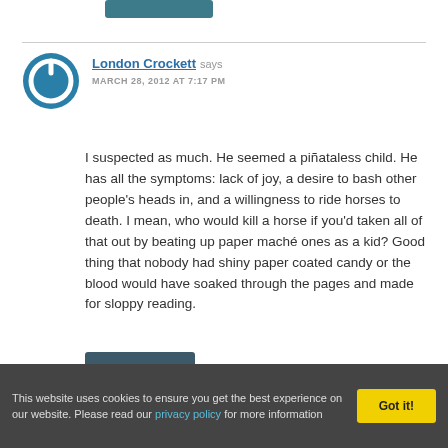[Figure (logo): Blue circular power button icon avatar for user London Crockett]
London Crockett says
MARCH 28, 2012 AT 7:17 PM
I suspected as much. He seemed a piñataless child. He has all the symptoms: lack of joy, a desire to bash other people's heads in, and a willingness to ride horses to death. I mean, who would kill a horse if you'd taken all of that out by beating up paper maché ones as a kid? Good thing that nobody had shiny paper coated candy or the blood would have soaked through the pages and made for sloppy reading.
REPLY
This website uses cookies to ensure you get the best experience on our website. Please read our privacy policy for more information